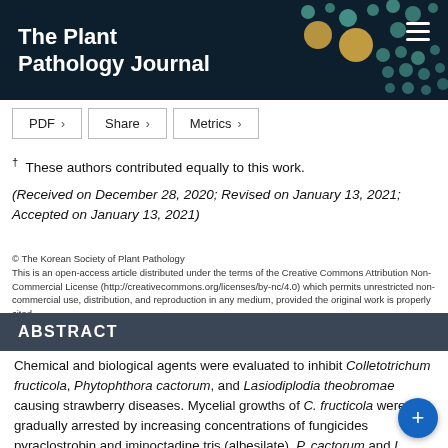The Plant Pathology Journal
PDF  Share  Metrics
† These authors contributed equally to this work.
(Received on December 28, 2020; Revised on January 13, 2021; Accepted on January 13, 2021)
© The Korean Society of Plant Pathology
This is an open-access article distributed under the terms of the Creative Commons Attribution Non-Commercial License (http://creativecommons.org/licenses/by-nc/4.0) which permits unrestricted non-commercial use, distribution, and reproduction in any medium, provided the original work is properly cited.
ABSTRACT
Chemical and biological agents were evaluated to inhibit Colletotrichum fructicola, Phytophthora cactorum, and Lasiodiplodia theobromae causing strawberry diseases. Mycelial growths of C. fructicola were gradually arrested by increasing concentrations of fungicides pyraclostrobin and iminoctadine tris (albesilate). P. cactorum and L. theobromae were more sensitive pyraclostrobin compared to C. fructicola, but iminoctadine tris